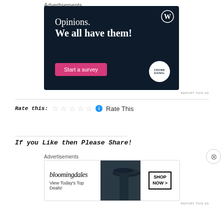Advertisements
[Figure (illustration): Dark navy blue advertisement banner for WordPress/Crowdsignal. Shows text 'Opinions. We all have them!' with a 'Start a survey' pink button and Crowdsignal logo. WordPress logo in top right.]
REPORT THIS AD
Rate this: ☆ ☆ ☆ ☆ ☆ ℹ Rate This
If you Like then Please Share!
Advertisements
[Figure (illustration): Bloomingdale's advertisement banner showing logo, 'View Today's Top Deals!' text, woman with large hat, and 'SHOP NOW >' button.]
REPORT THIS AD